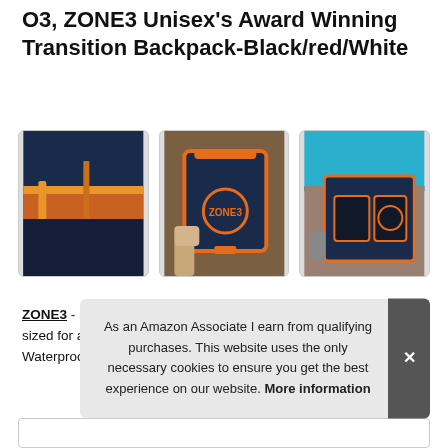O3, ZONE3 Unisex's Award Winning Transition Backpack-Black/red/White
[Figure (photo): Three product photos of ZONE3 navy and orange triathlon transition backpack: close-up of zipper, person holding open bag, and open bag displayed by poolside]
ZONE3 - Separate compartments for all your triathlon kit. Perfectly sized for aeroplane carry-on luggage. Fabric type: 100% polyester. Waterproof lined wetsuit compartment. Inclu
As an Amazon Associate I earn from qualifying purchases. This website uses the only necessary cookies to ensure you get the best experience on our website. More information